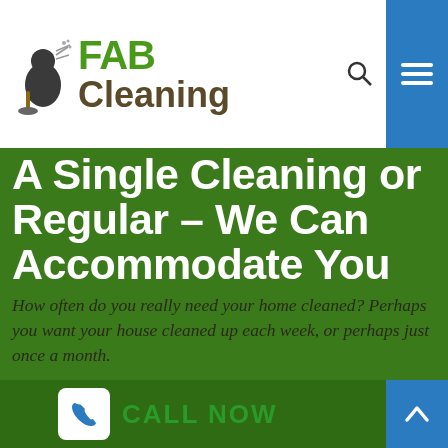FAB Cleaning
A Single Cleaning or Regular – We Can Accommodate You
How often do you really need your home cleaned? Perhaps you want your house cleaned up each week, or perhaps just once a month.
Here at House Cleaning Melbourne, we can supply you with a single clean-up, or we will put together a routine cleaning plan for your home. No matter what your wants, House Cleaning Melbourne is here for you.